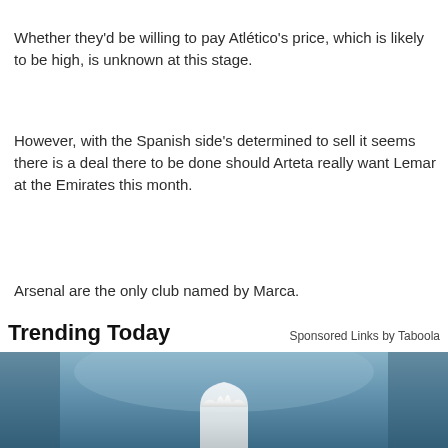Whether they'd be willing to pay Atlético's price, which is likely to be high, is unknown at this stage.
However, with the Spanish side's determined to sell it seems there is a deal there to be done should Arteta really want Lemar at the Emirates this month.
Arsenal are the only club named by Marca.
Trending Today
Sponsored Links by Taboola
[Figure (photo): Blurred background with a white dental crown/tooth held in the foreground, blue-toned image]